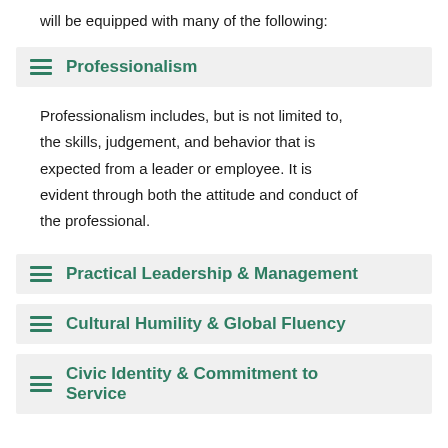will be equipped with many of the following:
Professionalism
Professionalism includes, but is not limited to, the skills, judgement, and behavior that is expected from a leader or employee. It is evident through both the attitude and conduct of the professional.
Practical Leadership & Management
Cultural Humility & Global Fluency
Civic Identity & Commitment to Service